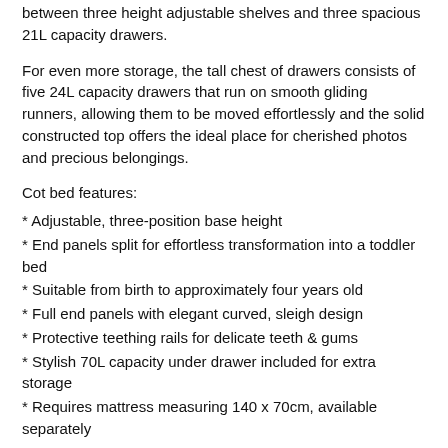between three height adjustable shelves and three spacious 21L capacity drawers.
For even more storage, the tall chest of drawers consists of five 24L capacity drawers that run on smooth gliding runners, allowing them to be moved effortlessly and the solid constructed top offers the ideal place for cherished photos and precious belongings.
Cot bed features:
* Adjustable, three-position base height
* End panels split for effortless transformation into a toddler bed
* Suitable from birth to approximately four years old
* Full end panels with elegant curved, sleigh design
* Protective teething rails for delicate teeth & gums
* Stylish 70L capacity under drawer included for extra storage
* Requires mattress measuring 140 x 70cm, available separately
Changing unit features:
* One full height cupboard with an adjustable shelf and soft close door
* Three half-width, full depth 13L capacity drawers on smooth